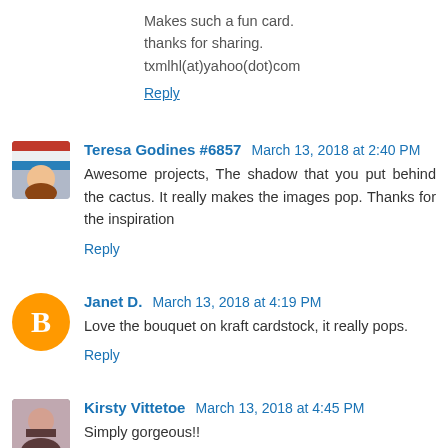Makes such a fun card.
thanks for sharing.
txmlhl(at)yahoo(dot)com
Reply
Teresa Godines #6857  March 13, 2018 at 2:40 PM
Awesome projects, The shadow that you put behind the cactus. It really makes the images pop. Thanks for the inspiration
Reply
Janet D.  March 13, 2018 at 4:19 PM
Love the bouquet on kraft cardstock, it really pops.
Reply
Kirsty Vittetoe  March 13, 2018 at 4:45 PM
Simply gorgeous!!